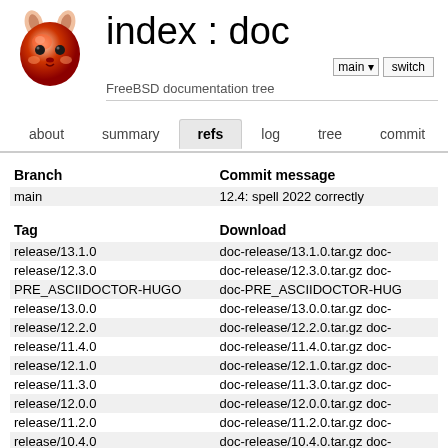[Figure (logo): FreeBSD mascot logo - red devil beastie head]
index : doc
FreeBSD documentation tree
about  summary  refs  log  tree  commit  diff
| Branch | Commit message |
| --- | --- |
| main | 12.4: spell 2022 correctly |
| Tag | Download |
| --- | --- |
| release/13.1.0 | doc-release/13.1.0.tar.gz  doc- |
| release/12.3.0 | doc-release/12.3.0.tar.gz  doc- |
| PRE_ASCIIDOCTOR-HUGO | doc-PRE_ASCIIDOCTOR-HUG |
| release/13.0.0 | doc-release/13.0.0.tar.gz  doc- |
| release/12.2.0 | doc-release/12.2.0.tar.gz  doc- |
| release/11.4.0 | doc-release/11.4.0.tar.gz  doc- |
| release/12.1.0 | doc-release/12.1.0.tar.gz  doc- |
| release/11.3.0 | doc-release/11.3.0.tar.gz  doc- |
| release/12.0.0 | doc-release/12.0.0.tar.gz  doc- |
| release/11.2.0 | doc-release/11.2.0.tar.gz  doc- |
| release/10.4.0 | doc-release/10.4.0.tar.gz  doc- |